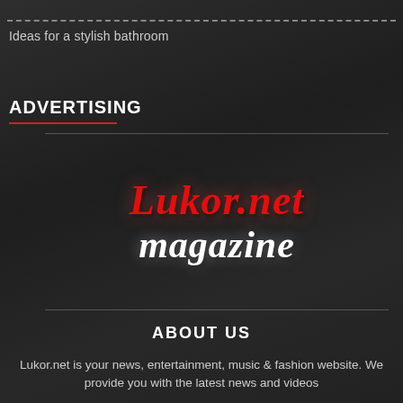Ideas for a stylish bathroom
ADVERTISING
[Figure (logo): Lukor.net magazine logo with red italic script 'Lukor.net' and white italic 'magazine' text on dark background]
ABOUT US
Lukor.net is your news, entertainment, music & fashion website. We provide you with the latest news and videos